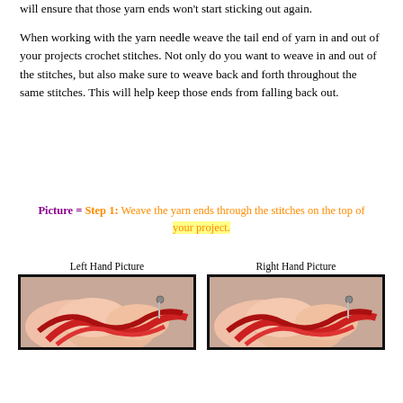will ensure that those yarn ends won't start sticking out again.
When working with the yarn needle weave the tail end of yarn in and out of your projects crochet stitches. Not only do you want to weave in and out of the stitches, but also make sure to weave back and forth throughout the same stitches. This will help keep those ends from falling back out.
Picture = Step 1: Weave the yarn ends through the stitches on the top of your project.
[Figure (photo): Left hand picture showing hands weaving yarn with a needle through red crochet stitches]
[Figure (photo): Right hand picture showing hands weaving yarn with a needle through red crochet stitches]